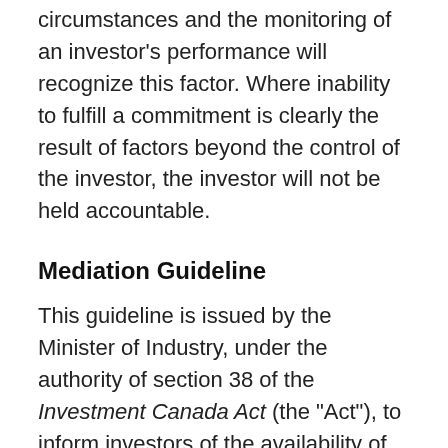circumstances and the monitoring of an investor's performance will recognize this factor. Where inability to fulfill a commitment is clearly the result of factors beyond the control of the investor, the investor will not be held accountable.
Mediation Guideline
This guideline is issued by the Minister of Industry, under the authority of section 38 of the Investment Canada Act (the "Act"), to inform investors of the availability of mediation procedures in the